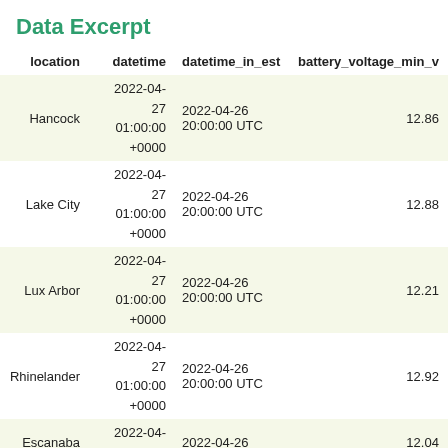Data Excerpt
| location | datetime | datetime_in_est | battery_voltage_min_v | vwc_10_ |
| --- | --- | --- | --- | --- |
| Hancock | 2022-04-27 01:00:00 +0000 | 2022-04-26 20:00:00 UTC | 12.86 |  |
| Lake City | 2022-04-27 01:00:00 +0000 | 2022-04-26 20:00:00 UTC | 12.88 |  |
| Lux Arbor | 2022-04-27 01:00:00 +0000 | 2022-04-26 20:00:00 UTC | 12.21 |  |
| Rhinelander | 2022-04-27 01:00:00 +0000 | 2022-04-26 20:00:00 UTC | 12.92 |  |
| Escanaba | 2022-04-27 01:00:00 +0000 | 2022-04-26 20:00:00 UTC | 12.04 |  |